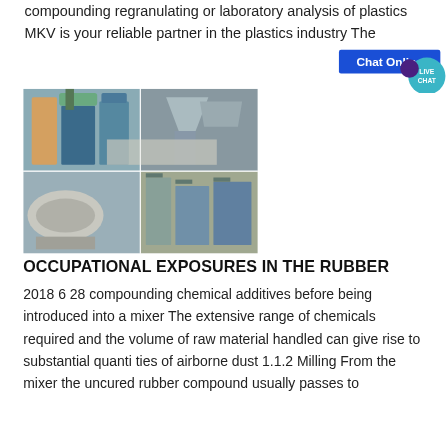compounding regranulating or laboratory analysis of plastics MKV is your reliable partner in the plastics industry The
[Figure (photo): Industrial machinery and equipment — four-panel photo grid showing grinding/milling/compounding plant equipment including cyclone separators, silos, and industrial structures]
OCCUPATIONAL EXPOSURES IN THE RUBBER
2018 6 28 compounding chemical additives before being introduced into a mixer The extensive range of chemicals required and the volume of raw material handled can give rise to substantial quanti ties of airborne dust 1.1.2 Milling From the mixer the uncured rubber compound usually passes to